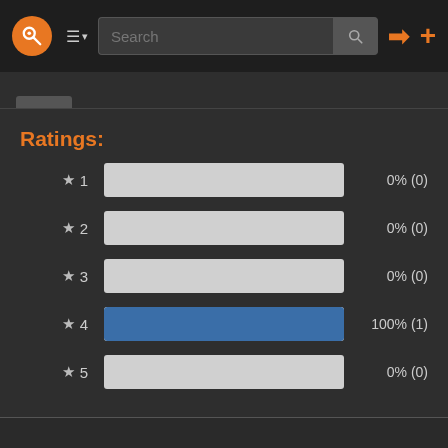[Figure (screenshot): Dark-themed web application navigation bar with orange logo, hamburger menu, search box, and orange login/add icons]
Ratings:
[Figure (bar-chart): Ratings distribution]
Reviews (0)